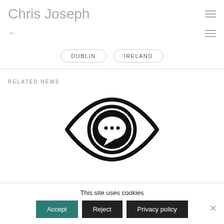Chris Joseph
← (back arrow)
DUBLIN
IRELAND
RELATED NEWS
[Figure (logo): Eye icon with a speech bubble (chat bubble with three dots) inside the pupil, rendered in black outline style]
This site uses cookies
Accept  Reject  Privacy policy